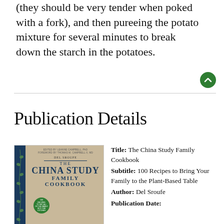(they should be very tender when poked with a fork), and then pureeing the potato mixture for several minutes to break down the starch in the potatoes.
Publication Details
[Figure (photo): Book cover of The China Study Family Cookbook by Del Sroufe, edited by LeAnne Campbell PhD, foreword by Thomas M. Campbell II MD. Blue spine with vine illustration, wood background, title in dark blue text, green circular badge at bottom.]
Title: The China Study Family Cookbook
Subtitle: 100 Recipes to Bring Your Family to the Plant-Based Table
Author: Del Sroufe
Publication Date: